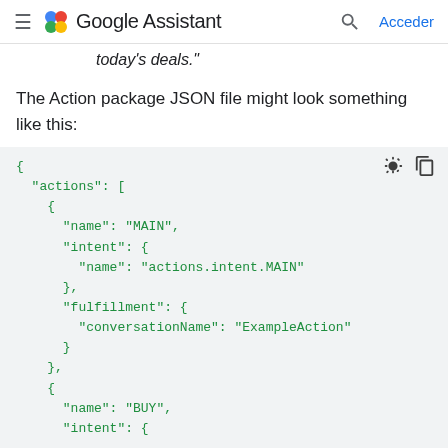Google Assistant  Acceder
today's deals."
The Action package JSON file might look something like this:
[Figure (screenshot): JSON code block showing an Action package with actions array containing MAIN and BUY entries, with name, intent, and fulfillment fields in green monospace text on a light grey background.]